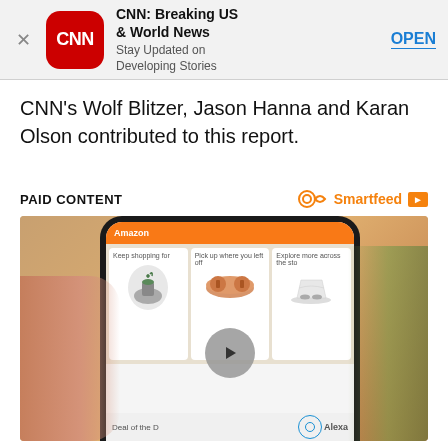[Figure (screenshot): CNN app banner ad with CNN logo icon (red rounded square), title 'CNN: Breaking US & World News', subtitle 'Stay Updated on Developing Stories', and an OPEN button link. Close (X) button on left.]
CNN's Wolf Blitzer, Jason Hanna and Karan Olson contributed to this report.
PAID CONTENT
[Figure (screenshot): Photo of a hand holding a smartphone displaying a shopping app with product cards (plant, sunglasses, shoes), a video play button, and Alexa logo. Cards show 'Keep Shopping for', 'Pick up where you left off', 'Explore more across the sto'. Also shows 'Deal of the D...' text at bottom.]